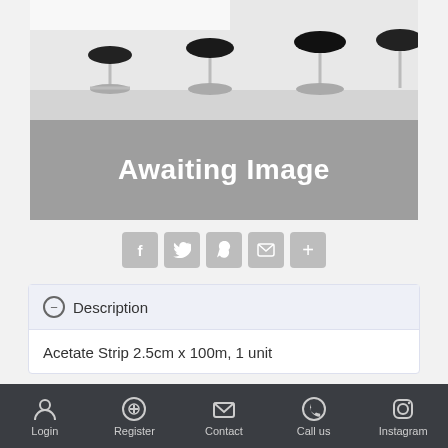[Figure (photo): Top portion shows a black-and-white photo of bar stools along a counter. Below is a grey placeholder box with white bold text 'Awaiting Image'.]
[Figure (other): Row of social share icon buttons: Facebook (f), Twitter (bird), Pinterest (P), Email (envelope), Plus (+)]
Description
Acetate Strip 2.5cm x 100m, 1 unit
Login  Register  Contact  Call us  Instagram